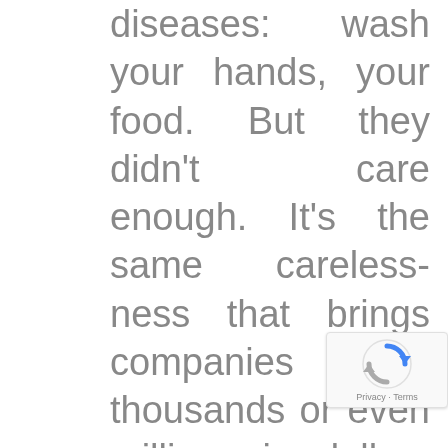diseases: wash your hands, your food. But they didn't care enough. It's the same carelessness that brings companies thousands or even millions in dollars in post-hacking recovery damages. We now care about stopping the coronavirus, but we don't seem to care about stopping cyber crime from reaching our company even though it has been a real danger for years.